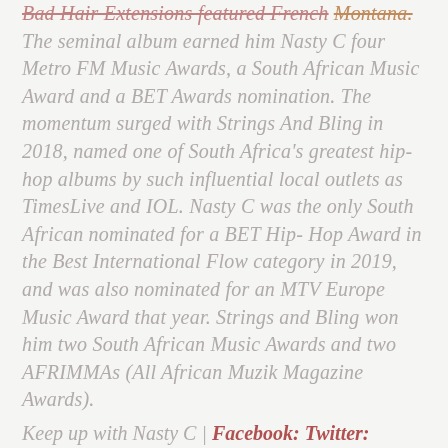Bad Hair Extensions featured French Montana. The seminal album earned him Nasty C four Metro FM Music Awards, a South African Music Award and a BET Awards nomination. The momentum surged with Strings And Bling in 2018, named one of South Africa's greatest hip-hop albums by such influential local outlets as TimesLive and IOL. Nasty C was the only South African nominated for a BET Hip-Hop Award in the Best International Flow category in 2019, and was also nominated for an MTV Europe Music Award that year. Strings and Bling won him two South African Music Awards and two AFRIMMAs (All African Muzik Magazine Awards).
Keep up with Nasty C | Facebook: Twitter: